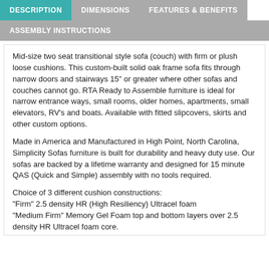DESCRIPTION
DIMENSIONS
FEATURES & BENEFITS
ASSEMBLY INSTRUCTIONS
Mid-size two seat transitional style sofa (couch) with firm or plush loose cushions. This custom-built solid oak frame sofa fits through narrow doors and stairways 15" or greater where other sofas and couches cannot go. RTA Ready to Assemble furniture is ideal for narrow entrance ways, small rooms, older homes, apartments, small elevators, RV's and boats. Available with fitted slipcovers, skirts and other custom options.
Made in America and Manufactured in High Point, North Carolina, Simplicity Sofas furniture is built for durability and heavy duty use. Our sofas are backed by a lifetime warranty and designed for 15 minute QAS (Quick and Simple) assembly with no tools required.
Choice of 3 different cushion constructions:
"Firm" 2.5 density HR (High Resiliency) Ultracel foam
"Medium Firm" Memory Gel Foam top and bottom layers over 2.5 density HR Ultracel foam core.
"Plush" Spring down cushions.